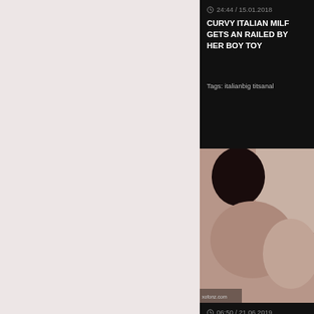24:44 / 15.01.2018
CURVY ITALIAN MILF GETS AN RAILED BY HER BOY TOY
Tags: italianbig titsanal
[Figure (photo): Woman with dark hair in intimate scene]
06:50 / 21.06.2019
ITALIAN BABE BETTINA DICAR HER AWESOME GIRLFRIEND M